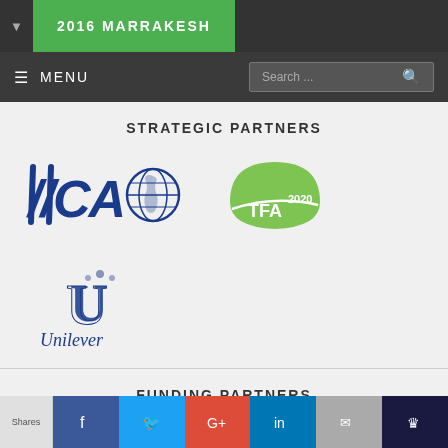2016 MARRAKESH
MENU  Search...
STRATEGIC PARTNERS
[Figure (logo): IICA (Inter-American Institute for Cooperation on Agriculture) logo with globe]
[Figure (logo): TFA 2020 logo - green leaf shape with TFA 2020 text]
[Figure (logo): Unilever logo - blue ornate U with Unilever text below]
FUNDING PARTNERS
Shares  Facebook  Twitter  Google+  LinkedIn  Email  Crown